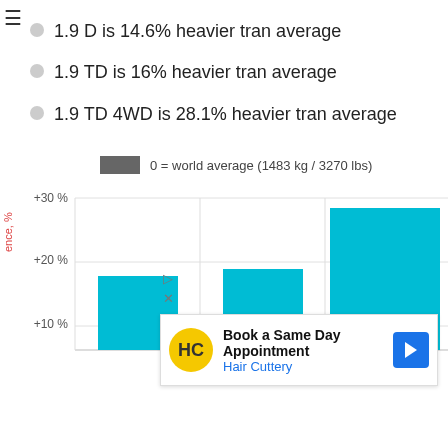1.9 D is 14.6% heavier tran average
1.9 TD is 16% heavier tran average
1.9 TD 4WD is 28.1% heavier tran average
[Figure (bar-chart): Bar chart showing percent heavier than world average (1483 kg / 3270 lbs). Three cyan bars at approximately +14.6%, +16%, +28.1%. Y-axis shows +10%, +20%, +30%.]